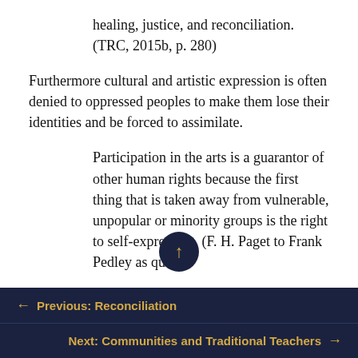healing, justice, and reconciliation. (TRC, 2015b, p. 280)
Furthermore cultural and artistic expression is often denied to oppressed peoples to make them lose their identities and be forced to assimilate.
Participation in the arts is a guarantor of other human rights because the first thing that is taken away from vulnerable, unpopular or minority groups is the right to self-expression. (F. H. Paget to Frank Pedley as quoted
← Previous: Reconciliation
Next: Communities and Traditional Teachers →